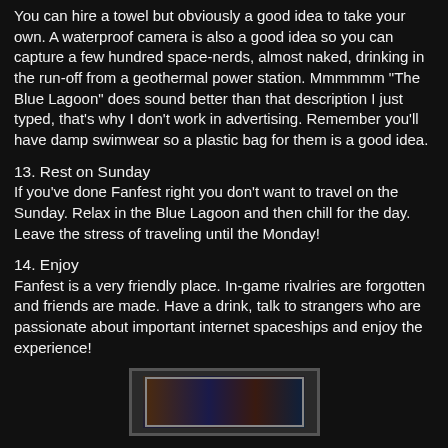You can hire a towel but obviously a good idea to take your own. A waterproof camera is also a good idea so you can capture a few hundred space-nerds, almost naked, drinking in the run-off from a geothermal power station. Mmmmmm "The Blue Lagoon" does sound better than that description I just typed, that's why I don't work in advertising. Remember you'll have damp swimwear so a plastic bag for them is a good idea.
13. Rest on Sunday
If you've done Fanfest right you don't want to travel on the Sunday. Relax in the Blue Lagoon and then chill for the day. Leave the stress of traveling until the Monday!
14. Enjoy
Fanfest is a very friendly place. In-game rivalries are forgotten and friends are made. Have a drink, talk to strangers who are passionate about important internet spaceships and enjoy the experience!
[Figure (photo): A partially visible photo at the bottom of the page showing what appears to be books or items on a shelf with colorful spines, partially cut off]